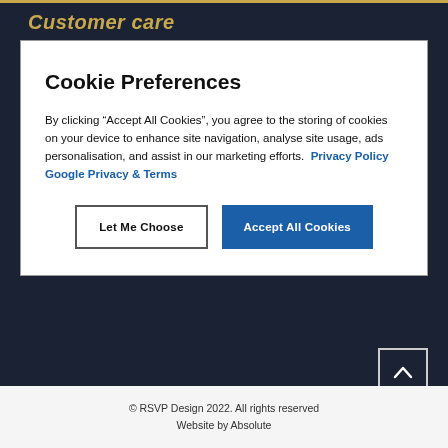Customer care
Cookie Preferences
By clicking “Accept All Cookies”, you agree to the storing of cookies on your device to enhance site navigation, analyse site usage, ads personalisation, and assist in our marketing efforts.  Privacy Policy  Google Privacy & Terms
© RSVP Design 2022. All rights reserved
Website by Absolute